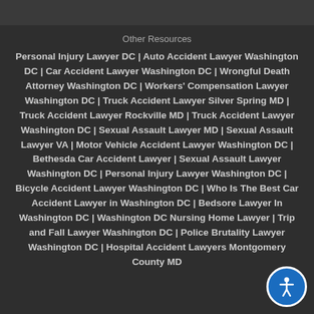Other Resources
Personal Injury Lawyer DC | Auto Accident Lawyer Washington DC | Car Accident Lawyer Washington DC | Wrongful Death Attorney Washington DC | Workers' Compensation Lawyer Washington DC | Truck Accident Lawyer Silver Spring MD | Truck Accident Lawyer Rockville MD | Truck Accident Lawyer Washington DC | Sexual Assault Lawyer MD | Sexual Assault Lawyer VA | Motor Vehicle Accident Lawyer Washington DC | Bethesda Car Accident Lawyer | Sexual Assault Lawyer Washington DC | Personal Injury Lawyer Washington DC | Bicycle Accident Lawyer Washington DC | Who Is The Best Car Accident Lawyer in Washington DC | Bedsore Lawyer In Washington DC | Washington DC Nursing Home Lawyer | Trip and Fall Lawyer Washington DC | Police Brutality Lawyer Washington DC | Hospital Accident Lawyers Montgomery County MD